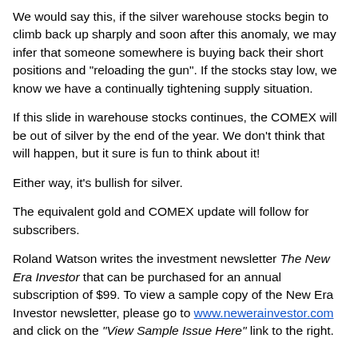We would say this, if the silver warehouse stocks begin to climb back up sharply and soon after this anomaly, we may infer that someone somewhere is buying back their short positions and "reloading the gun". If the stocks stay low, we know we have a continually tightening supply situation.
If this slide in warehouse stocks continues, the COMEX will be out of silver by the end of the year. We don't think that will happen, but it sure is fun to think about it!
Either way, it's bullish for silver.
The equivalent gold and COMEX update will follow for subscribers.
Roland Watson writes the investment newsletter The New Era Investor that can be purchased for an annual subscription of $99. To view a sample copy of the New Era Investor newsletter, please go to www.newerainvestor.com and click on the "View Sample Issue Here" link to the right.